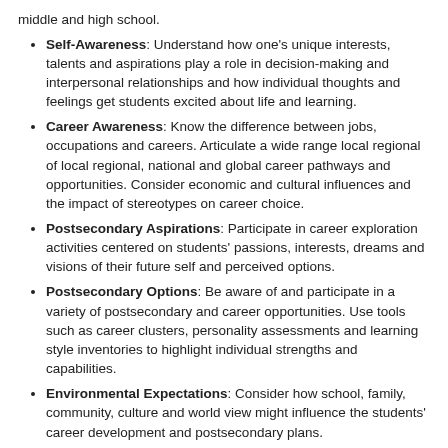middle and high school.
Self-Awareness: Understand how one's unique interests, talents and aspirations play a role in decision-making and interpersonal relationships and how individual thoughts and feelings get students excited about life and learning.
Career Awareness: Know the difference between jobs, occupations and careers. Articulate a wide range local regional of local regional, national and global career pathways and opportunities. Consider economic and cultural influences and the impact of stereotypes on career choice.
Postsecondary Aspirations: Participate in career exploration activities centered on students' passions, interests, dreams and visions of their future self and perceived options.
Postsecondary Options: Be aware of and participate in a variety of postsecondary and career opportunities. Use tools such as career clusters, personality assessments and learning style inventories to highlight individual strengths and capabilities.
Environmental Expectations: Consider how school, family, community, culture and world view might influence the students' career development and postsecondary plans.
Academic Planning: Apply the skills and knowledge necessary to map out and pass the academic courses required to achieve postsecondary goals.
Employability Skills: Reflect on and...